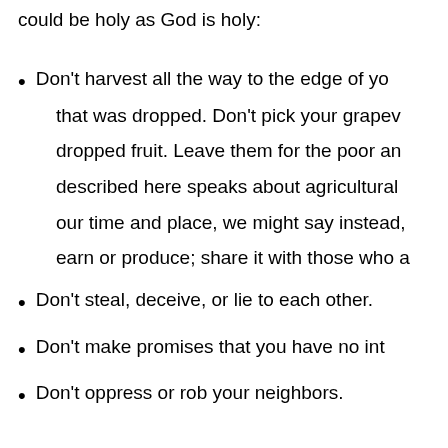could be holy as God is holy:
Don't harvest all the way to the edge of yo...
that was dropped.  Don't pick your grapev...
dropped fruit.  Leave them for the poor an...
described here speaks about agricultural...
our time and place, we might say instead,...
earn or produce; share it with those who a...
Don't steal, deceive, or lie to each other.
Don't make promises that you have no int...
Don't oppress or rob your neighbors.